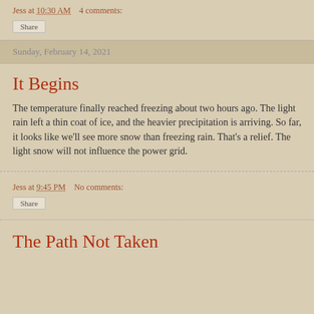Jess at 10:30 AM    4 comments:
Share
Sunday, February 14, 2021
It Begins
The temperature finally reached freezing about two hours ago. The light rain left a thin coat of ice, and the heavier precipitation is arriving. So far, it looks like we'll see more snow than freezing rain. That's a relief. The light snow will not influence the power grid.
Jess at 9:45 PM    No comments:
Share
The Path Not Taken